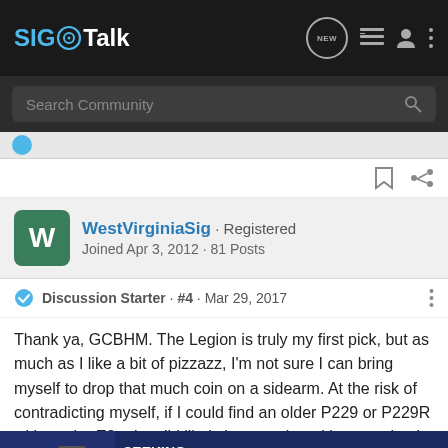SIG Talk
Search Community
WestVirginiaSig · Registered
Joined Apr 3, 2012 · 81 Posts
Discussion Starter · #4 · Mar 29, 2017
Thank ya, GCBHM. The Legion is truly my first pick, but as much as I like a bit of pizzazz, I'm not sure I can bring myself to drop that much coin on a sidearm. At the risk of contradicting myself, if I could find an older P229 or P229R without the E2 grips, I'd likely jump on it and be completely satisfied. One thing most folks that know me will say is I am not a guy on my firearms neither do I hab...mped
[Figure (screenshot): KEL-TEC advertisement banner showing a handgun with text SEEKING LONG RANGE RELATIONSHIP THE CP33 PISTOL]